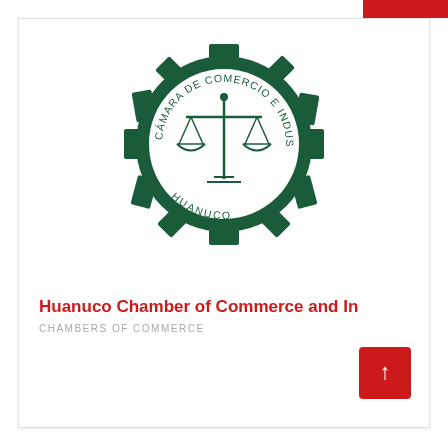[Figure (logo): Cámara de Comercio e Industrias Huanuco seal/logo featuring a balance scale in the center surrounded by a gear border with the text CAMARA DE COMERCIO E INDUSTRIAS and HUANUCO around the circle]
Huanuco Chamber of Commerce and Industi
CHAMBERS OF COMMERCE